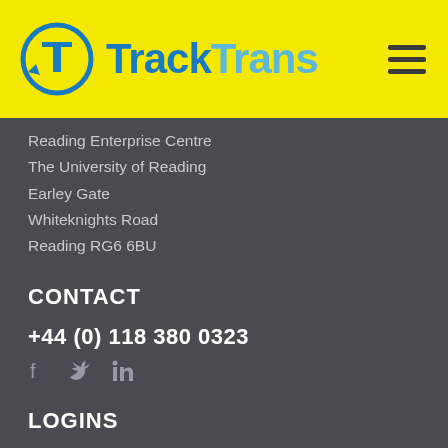[Figure (logo): TrackTrans logo: circular arrow icon with T letter in center, alongside bold 'TrackTrans' text in blue on yellow background]
Reading Enterprise Centre
The University of Reading
Earley Gate
Whiteknights Road
Reading RG6 6BU
CONTACT
+44 (0) 118 380 0323
[Figure (other): Social media icons: Facebook, Twitter, LinkedIn]
LOGINS
TMS Login